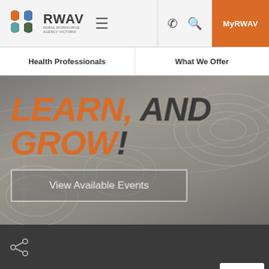RWAV Rural Workforce Agency Victoria - Header navigation with phone, search, and MyRWAV buttons
Health Professionals | What We Offer
[Figure (screenshot): Hero banner with topographic map background, large italic bold text reading LEARN, AND GROW! in orange and dark grey, with a View Available Events button]
CONNECTED
Privacy - Terms (reCAPTCHA badge)